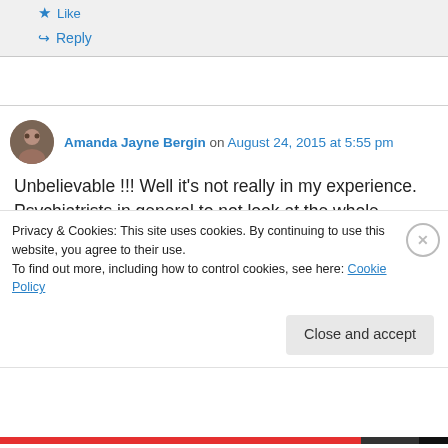Like
Reply
Amanda Jayne Bergin on August 24, 2015 at 5:55 pm
Unbelievable !!! Well it's not really in my experience. Psychiatrists in general to not look at the whole person. If you question and argue...
Privacy & Cookies: This site uses cookies. By continuing to use this website, you agree to their use.
To find out more, including how to control cookies, see here: Cookie Policy
Close and accept